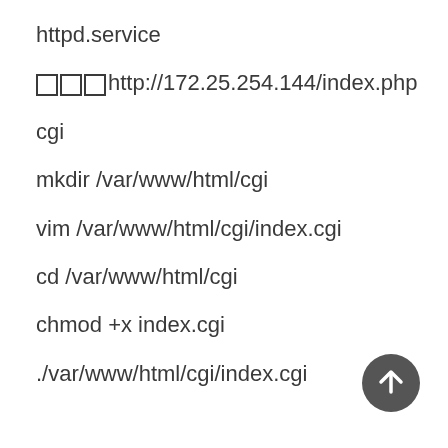httpd.service
□□□http://172.25.254.144/index.php
cgi
mkdir /var/www/html/cgi
vim /var/www/html/cgi/index.cgi
cd /var/www/html/cgi
chmod +x index.cgi
./var/www/html/cgi/index.cgi
[Figure (illustration): Dark circular scroll-to-top button with upward arrow icon, positioned bottom-right]